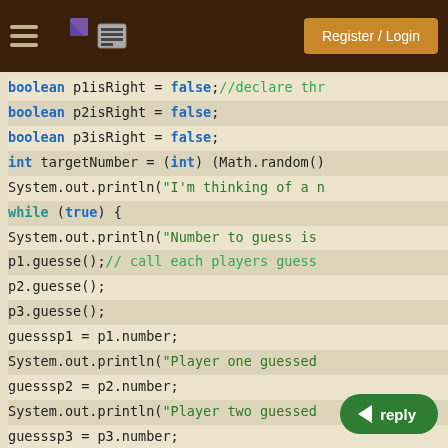Register / Login
[Figure (screenshot): Navigation bar with hamburger menu, pie-chart icon, and list icon on dark brown background, with Register/Login button in orange-brown on the right.]
boolean p1isRight = false;//declare thr
boolean p2isRight = false;
boolean p3isRight = false;
int targetNumber = (int) (Math.random()
System.out.println("I'm thinking of a n
while (true) {
System.out.println("Number to guess is
p1.guesse();// call each players guess 
p2.guesse();
p3.guesse();
guesssp1 = p1.number;
System.out.println("Player one guessed
guesssp2 = p2.number;
System.out.println("Player two guessed
guesssp3 = p3.number;
System.out.println("Player three guesse
if (guesssp1 == targetNumber) {
p1isRight = true;
}
if (guesssp2 == targetNumber) {
p2isRight = true;
}
if (guesssp3 == targetNumber) {